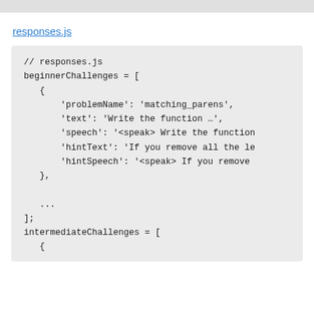responses.js
[Figure (screenshot): Code block showing JavaScript file responses.js with beginnerChallenges array containing an object with problemName, text, speech, hintText, hintSpeech fields, followed by ellipsis and closing bracket, then intermediateChallenges array beginning.]